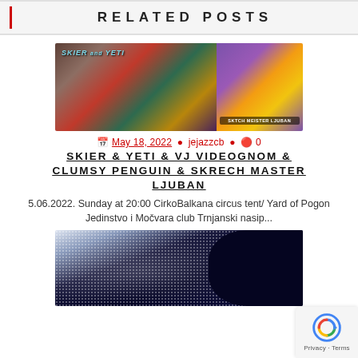RELATED POSTS
[Figure (photo): Collage of two images: left side shows a colorful band performing outdoors under a red tent with text 'SKIER and YETI'; right side shows a person on a purple/yellow abstract background with text 'SKTCH MEISTER LJUBAN']
May 18, 2022  jejazzcb  0
SKIER & YETI & VJ VIDEOGNOM & CLUMSY PENGUIN & SKRECH MASTER LJUBAN
5.06.2022. Sunday at 20:00 CirkoBalkana circus tent/ Yard of Pogon Jedinstvo i Močvara club Trnjanski nasip...
[Figure (photo): Abstract dark image with scattered white dots/splashes on a dark blue/navy background, with a dark shape on the right side]